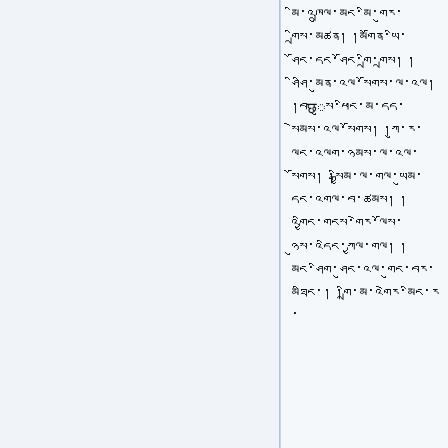Tibetan script text passage in right column
Left column blank panel